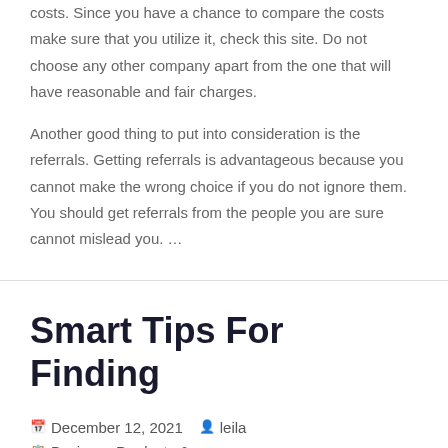costs. Since you have a chance to compare the costs make sure that you utilize it, check this site. Do not choose any other company apart from the one that will have reasonable and fair charges.
Another good thing to put into consideration is the referrals. Getting referrals is advantageous because you cannot make the wrong choice if you do not ignore them. You should get referrals from the people you are sure cannot mislead you. …
Smart Tips For Finding
December 12, 2021   leila   Business Products & Services